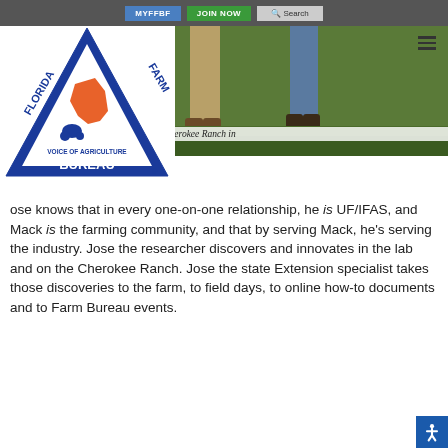MYFFBF | JOIN NOW | Search
[Figure (photo): Photo of two people standing on grass at Cherokee Ranch, showing their legs and boots. Florida Farm Bureau logo (triangle with FLORIDA FARM BUREAU, VOICE OF AGRICULTURE text and orange Florida map) overlaid on left side.]
Mack Glass at Cherokee Ranch in
ose knows that in every one-on-one relationship, he is UF/IFAS, and Mack is the farming community, and that by serving Mack, he’s serving the industry. Jose the researcher discovers and innovates in the lab and on the Cherokee Ranch. Jose the state Extension specialist takes those discoveries to the farm, to field days, to online how-to documents and to Farm Bureau events.